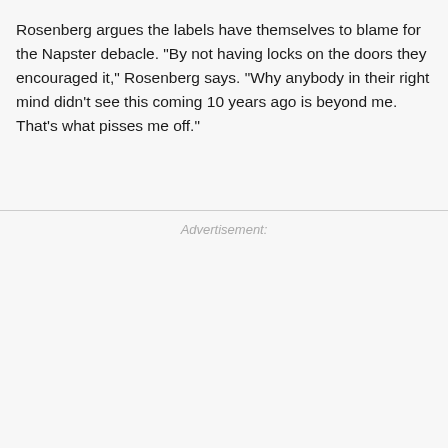Rosenberg argues the labels have themselves to blame for the Napster debacle. "By not having locks on the doors they encouraged it," Rosenberg says. "Why anybody in their right mind didn't see this coming 10 years ago is beyond me. That's what pisses me off."
Advertisement: